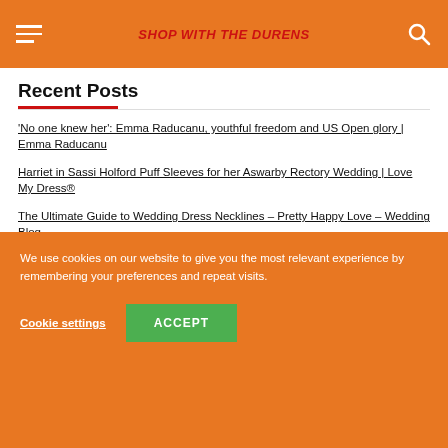SHOP WITH THE DURENS
Recent Posts
'No one knew her': Emma Raducanu, youthful freedom and US Open glory | Emma Raducanu
Harriet in Sassi Holford Puff Sleeves for her Aswarby Rectory Wedding | Love My Dress®
The Ultimate Guide to Wedding Dress Necklines – Pretty Happy Love – Wedding Blog
Everything You Need To Know About Prenups
We use cookies on our website to give you the most relevant experience by remembering your preferences and repeat visits.
Cookie settings
ACCEPT